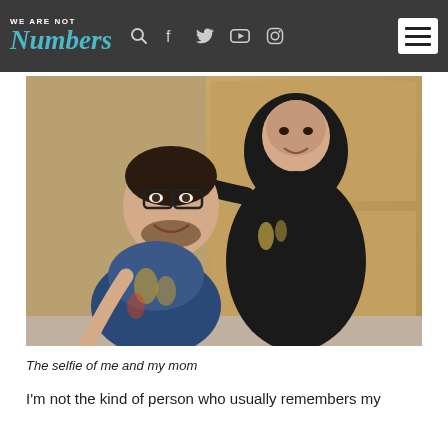WE ARE NOT Numbers — navigation bar with search, Facebook, Twitter, YouTube, Instagram icons and hamburger menu
[Figure (photo): A selfie of a young man wearing glasses and a patterned shirt with a woman in a black hijab and abaya, both smiling, standing in front of a wooden door.]
The selfie of me and my mom
I'm not the kind of person who usually remembers my